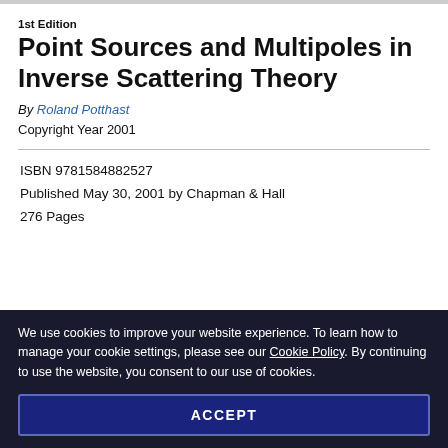1st Edition
Point Sources and Multipoles in Inverse Scattering Theory
By Roland Potthast
Copyright Year 2001
ISBN 9781584882527
Published May 30, 2001 by Chapman & Hall
276 Pages
We use cookies to improve your website experience. To learn how to manage your cookie settings, please see our Cookie Policy. By continuing to use the website, you consent to our use of cookies.
ACCEPT